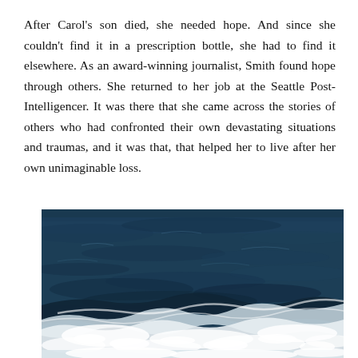After Carol's son died, she needed hope. And since she couldn't find it in a prescription bottle, she had to find it elsewhere. As an award-winning journalist, Smith found hope through others. She returned to her job at the Seattle Post-Intelligencer. It was there that she came across the stories of others who had confronted their own devastating situations and traumas, and it was that, that helped her to live after her own unimaginable loss.
[Figure (photo): Aerial photograph of ocean waves — dark blue deep water with white foam and surf crashing at the lower portion of the image.]